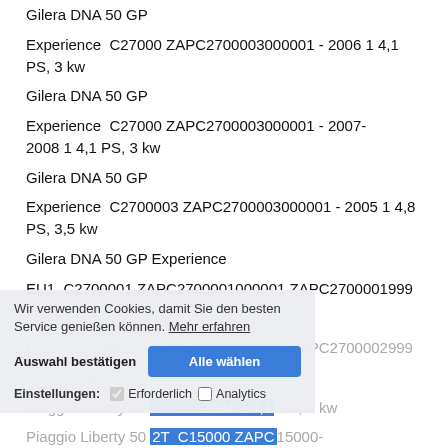Gilera DNA 50 GP
Experience  C27000 ZAPC2700003000001 - 2006 1 4,1 PS, 3 kw
Gilera DNA 50 GP
Experience  C27000 ZAPC2700003000001 - 2007-2008 1 4,1 PS, 3 kw
Gilera DNA 50 GP
Experience  C2700003 ZAPC2700003000001 - 2005 1 4,8 PS, 3,5 kw
Gilera DNA 50 GP Experience
EU1  C2700001 ZAPC2700001000001 ZAPC2700001999
2004 1 4,8 PS, 3,5 kw
EU2  C2700002 ZAPC2700002000001 ZAPC2700002999
PS, 3,5 kw
Piaggio Liberty 50 2T - - - 2004 1 4,1 PS, 3 kw
Piaggio Liberty 50 2T  C15000 ZAPC15000-00001001 - 1998-2000 1 3,8 PS, 2,8 kw
Piaggio Liberty 50 2T  C15000 ZAPC15000-00001001 - 2001 1 3,8 PS, 2,8 kw
Wir verwenden Cookies, damit Sie den besten Service genießen können. Mehr erfahren
Auswahl bestätigen | Alle wählen
Einstellungen: Erforderlich  Analytics